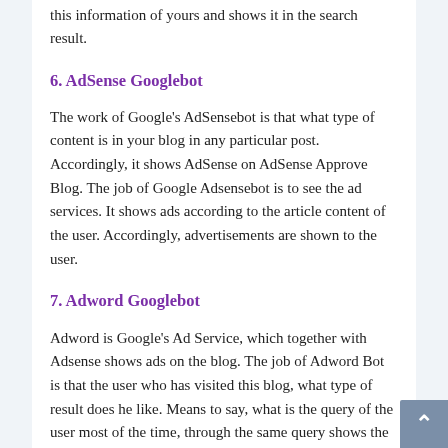this information of yours and shows it in the search result.
6. AdSense Googlebot
The work of Google's AdSensebot is that what type of content is in your blog in any particular post. Accordingly, it shows AdSense on AdSense Approve Blog. The job of Google Adsensebot is to see the ad services. It shows ads according to the article content of the user. Accordingly, advertisements are shown to the user.
7. Adword Googlebot
Adword is Google's Ad Service, which together with Adsense shows ads on the blog. The job of Adword Bot is that the user who has visited this blog, what type of result does he like. Means to say, what is the query of the user most of the time, through the same query shows the advertisement to the user.